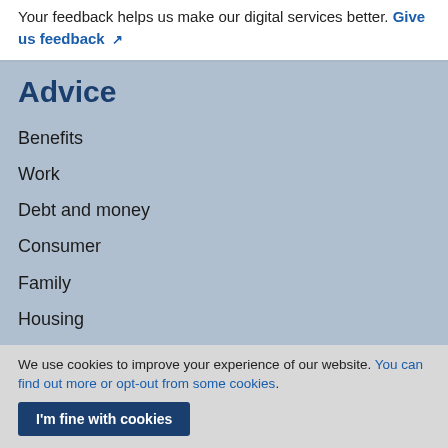Your feedback helps us make our digital services better. Give us feedback ↗
Advice
Benefits
Work
Debt and money
Consumer
Family
Housing
Law and courts
We use cookies to improve your experience of our website. You can find out more or opt-out from some cookies.
I'm fine with cookies